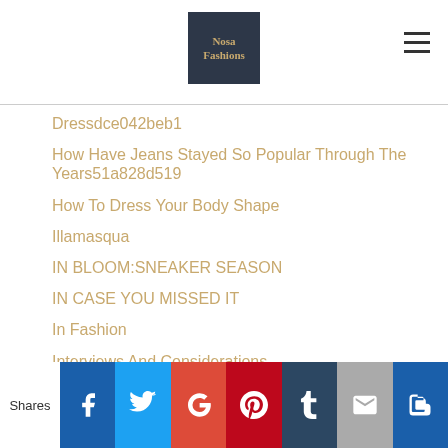Nosa Fashions
Dressdce042beb1
How Have Jeans Stayed So Popular Through The Years51a828d519
How To Dress Your Body Shape
Illamasqua
IN BLOOM:SNEAKER SEASON
IN CASE YOU MISSED IT
In Fashion
Interviews And Considerations
IPhone
Issey Miyake
Jacket
#jacket
Jacquemus
Shares [social share icons: Facebook, Twitter, Google+, Pinterest, Tumblr, Email, Blogger]